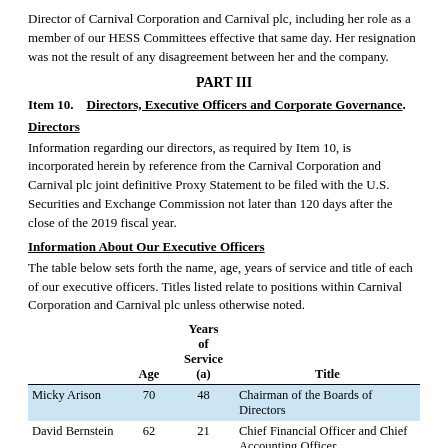Director of Carnival Corporation and Carnival plc, including her role as a member of our HESS Committees effective that same day. Her resignation was not the result of any disagreement between her and the company.
PART III
Item 10.    Directors, Executive Officers and Corporate Governance.
Directors
Information regarding our directors, as required by Item 10, is incorporated herein by reference from the Carnival Corporation and Carnival plc joint definitive Proxy Statement to be filed with the U.S. Securities and Exchange Commission not later than 120 days after the close of the 2019 fiscal year.
Information About Our Executive Officers
The table below sets forth the name, age, years of service and title of each of our executive officers. Titles listed relate to positions within Carnival Corporation and Carnival plc unless otherwise noted.
|  | Age | Years of Service (a) | Title |
| --- | --- | --- | --- |
| Micky Arison | 70 | 48 | Chairman of the Boards of Directors |
| David Bernstein | 62 | 21 | Chief Financial Officer and Chief Accounting Officer |